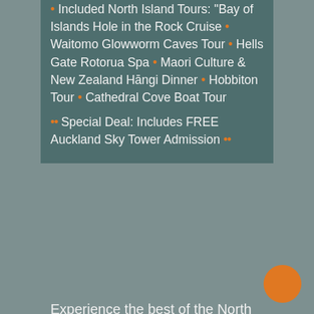Included North Island Tours: Bay of Islands Hole in the Rock Cruise • Waitomo Glowworm Caves Tour • Hells Gate Rotorua Spa • Maori Culture & New Zealand Hāngi Dinner • Hobbiton Tour • Cathedral Cove Boat Tour
•• Special Deal: Includes FREE Auckland Sky Tower Admission ••
Experience the best of the North Island on this 5* reviewed New Zealand guided vacation. We offer flexible New Zealand escorted tours with no date or itinerary restrictions.
Each New Zealand vacation package includes a personal tour guide/driver, private tour vehicle, quality accommodation, and a range of must-do activities. In addition, this North Island guided tour is fully